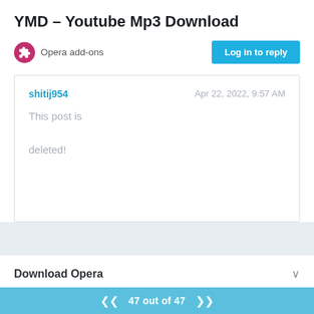YMD – Youtube Mp3 Download
Opera add-ons
Log in to reply
shitij954  This post is deleted!   Apr 22, 2022, 9:57 AM
Download Opera
Services
47 out of 47